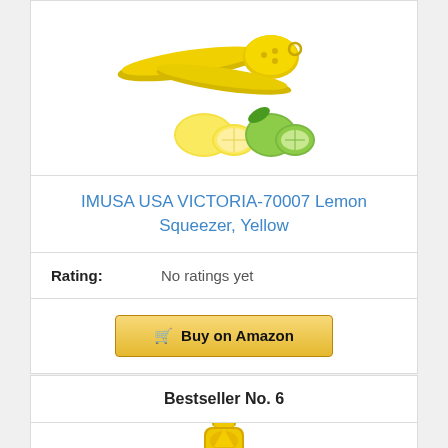[Figure (photo): Yellow lemon squeezer / citrus press tool shown above lemons and limes]
IMUSA USA VICTORIA-70007 Lemon Squeezer, Yellow
Rating: No ratings yet
Buy on Amazon
Bestseller No. 6
[Figure (photo): Small yellow citrus juicer product image, partially visible at bottom]